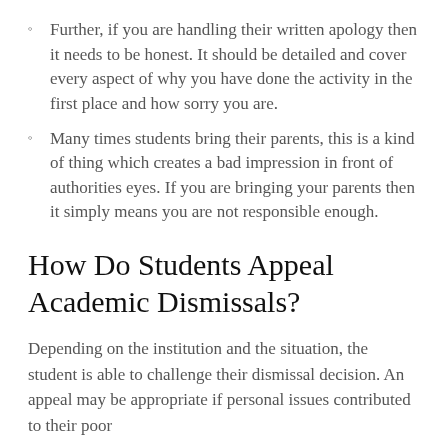Further, if you are handling their written apology then it needs to be honest. It should be detailed and cover every aspect of why you have done the activity in the first place and how sorry you are.
Many times students bring their parents, this is a kind of thing which creates a bad impression in front of authorities eyes. If you are bringing your parents then it simply means you are not responsible enough.
How Do Students Appeal Academic Dismissals?
Depending on the institution and the situation, the student is able to challenge their dismissal decision. An appeal may be appropriate if personal issues contributed to their poor